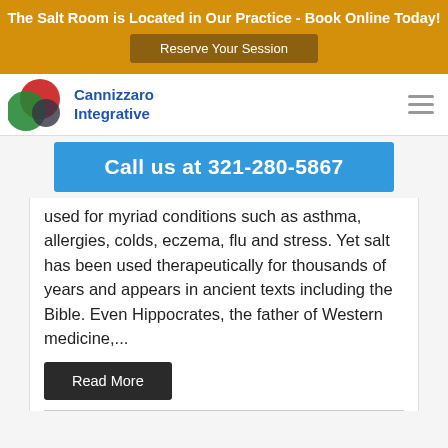The Salt Room is Located in Our Practice - Book Online Today!
Reserve Your Session
[Figure (logo): Cannizzaro Integrative logo with overlapping red, green, and dark circle shapes]
Call us at 321-280-5867
used for myriad conditions such as asthma, allergies, colds, eczema, flu and stress. Yet salt has been used therapeutically for thousands of years and appears in ancient texts including the Bible. Even Hippocrates, the father of Western medicine,...
Read More